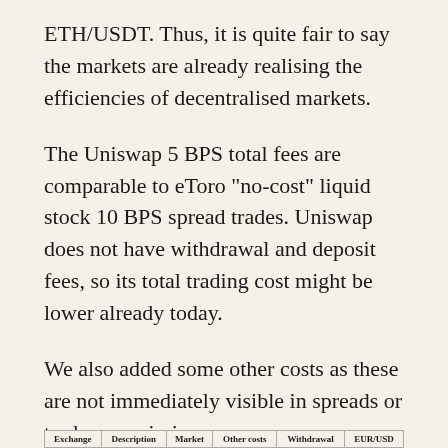ETH/USDT. Thus, it is quite fair to say the markets are already realising the efficiencies of decentralised markets.
The Uniswap 5 BPS total fees are comparable to eToro "no-cost" liquid stock 10 BPS spread trades. Uniswap does not have withdrawal and deposit fees, so its total trading cost might be lower already today.
We also added some other costs as these are not immediately visible in spreads or trade commissions.
| Exchange | Description | Market | Other costs | Withdrawal | EUR/USD |
| --- | --- | --- | --- | --- | --- |